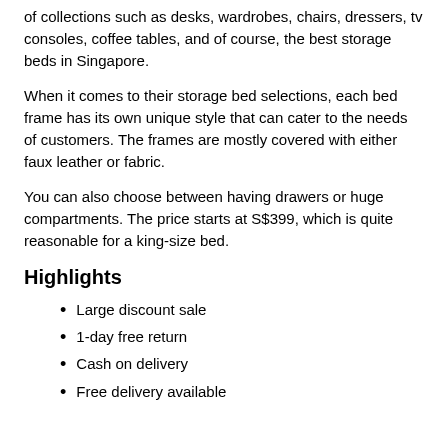of collections such as desks, wardrobes, chairs, dressers, tv consoles, coffee tables, and of course, the best storage beds in Singapore.
When it comes to their storage bed selections, each bed frame has its own unique style that can cater to the needs of customers. The frames are mostly covered with either faux leather or fabric.
You can also choose between having drawers or huge compartments. The price starts at S$399, which is quite reasonable for a king-size bed.
Highlights
Large discount sale
1-day free return
Cash on delivery
Free delivery available